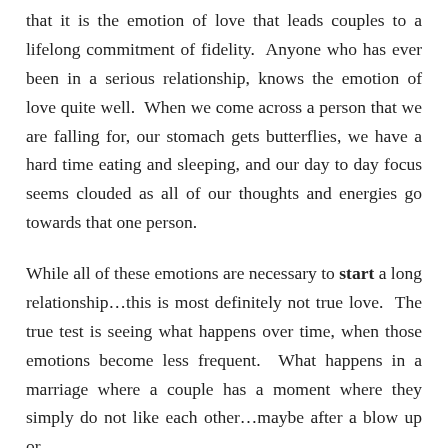that it is the emotion of love that leads couples to a lifelong commitment of fidelity.  Anyone who has ever been in a serious relationship, knows the emotion of love quite well.  When we come across a person that we are falling for, our stomach gets butterflies, we have a hard time eating and sleeping, and our day to day focus seems clouded as all of our thoughts and energies go towards that one person.
While all of these emotions are necessary to start a long relationship…this is most definitely not true love.  The true test is seeing what happens over time, when those emotions become less frequent.  What happens in a marriage where a couple has a moment where they simply do not like each other…maybe after a blow up or